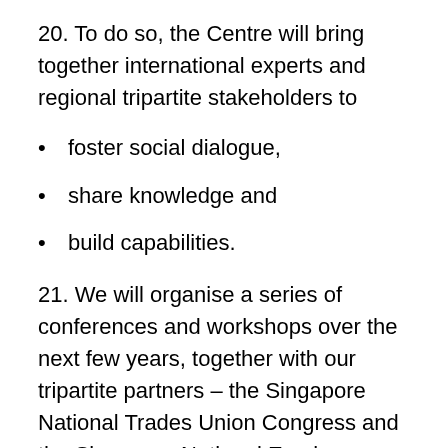20. To do so, the Centre will bring together international experts and regional tripartite stakeholders to
foster social dialogue,
share knowledge and
build capabilities.
21. We will organise a series of conferences and workshops over the next few years, together with our tripartite partners – the Singapore National Trades Union Congress and the Singapore National Employers